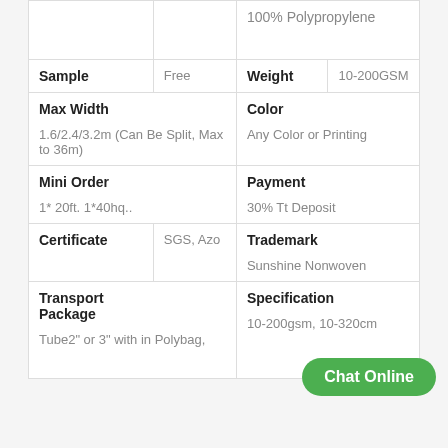|  |  | 100% Polypropylene |
| Sample | Free | Weight | 10-200GSM |
| Max Width

1.6/2.4/3.2m (Can Be Split, Max to 36m) |  | Color

Any Color or Printing |  |
| Mini Order

1* 20ft. 1*40hq.. |  | Payment

30% Tt Deposit |  |
| Certificate | SGS, Azo | Trademark

Sunshine Nonwoven |  |
| Transport Package

Tube2" or 3" with in Polybag, |  | Specification

10-200gsm, 10-320cm |  |